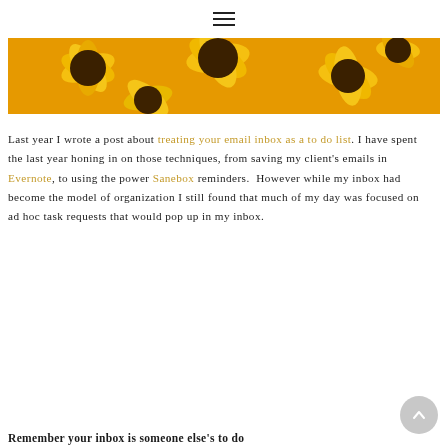≡
[Figure (photo): Cropped photo of yellow sunflowers, partially visible at top of page]
Last year I wrote a post about treating your email inbox as a to do list. I have spent the last year honing in on those techniques, from saving my client's emails in Evernote, to using the power Sanebox reminders. However while my inbox had become the model of organization I still found that much of my day was focused on ad hoc task requests that would pop up in my inbox.
Remember your inbox is someone else's to do